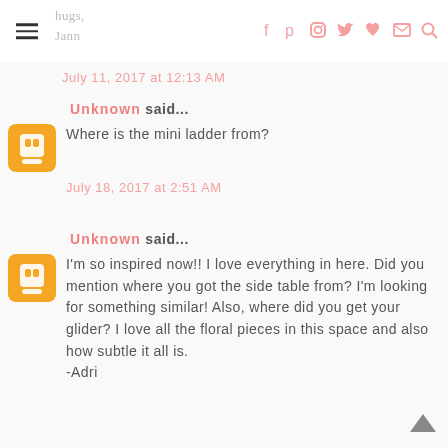hugs, Jann
July 11, 2017 at 12:13 AM
Unknown said...
Where is the mini ladder from?
July 18, 2017 at 2:51 AM
Unknown said...
I'm so inspired now!! I love everything in here. Did you mention where you got the side table from? I'm looking for something similar! Also, where did you get your glider? I love all the floral pieces in this space and also how subtle it all is.
-Adri